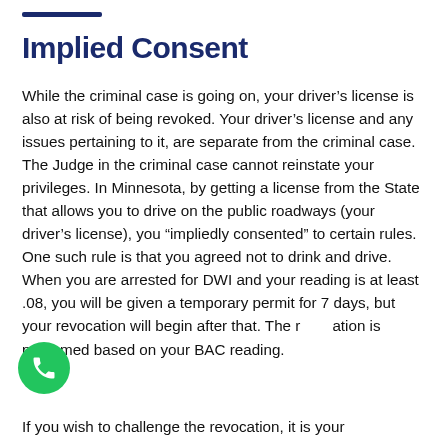Implied Consent
While the criminal case is going on, your driver’s license is also at risk of being revoked. Your driver’s license and any issues pertaining to it, are separate from the criminal case. The Judge in the criminal case cannot reinstate your privileges. In Minnesota, by getting a license from the State that allows you to drive on the public roadways (your driver’s license), you “impliedly consented” to certain rules. One such rule is that you agreed not to drink and drive. When you are arrested for DWI and your reading is at least .08, you will be given a temporary permit for 7 days, but your revocation will begin after that. The revocation is presumed based on your BAC reading.
If you wish to challenge the revocation, it is your...